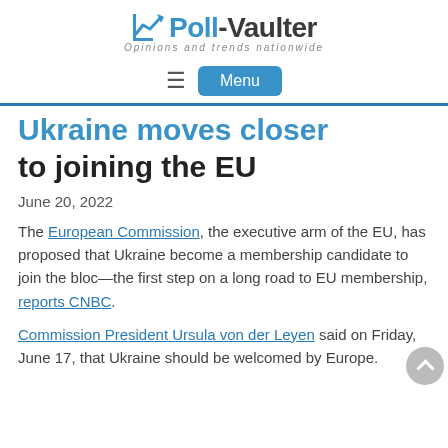Poll-Vaulter – Opinions and trends nationwide
Ukraine moves closer to joining the EU
June 20, 2022
The European Commission, the executive arm of the EU, has proposed that Ukraine become a membership candidate to join the bloc—the first step on a long road to EU membership, reports CNBC.
Commission President Ursula von der Leyen said on Friday, June 17, that Ukraine should be welcomed by Europe.